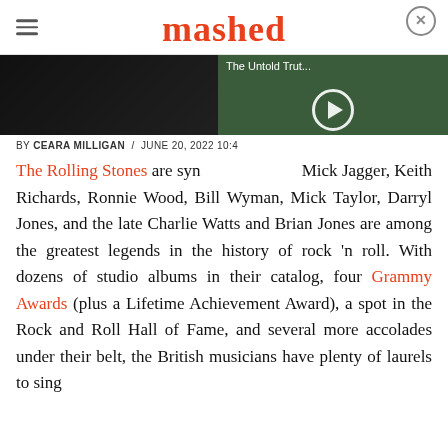mashed
[Figure (screenshot): Hero image dark background with video overlay showing a man eating, titled 'The Untold Trut...' with a play button]
BY CEARA MILLIGAN / JUNE 20, 2022 10:4...
The Rolling Stones are synonymous with Mick Jagger, Keith Richards, Ronnie Wood, Bill Wyman, Mick Taylor, Darryl Jones, and the late Charlie Watts and Brian Jones are among the greatest legends in the history of rock 'n roll. With dozens of studio albums in their catalog, four Grammy Awards (plus a Lifetime Achievement Award), a spot in the Rock and Roll Hall of Fame, and several more accolades under their belt, the British musicians have plenty of laurels to sing